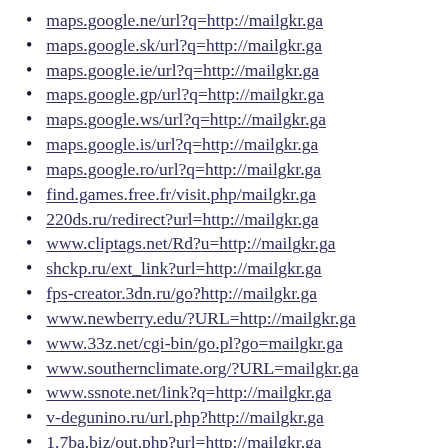maps.google.ne/url?q=http://mailgkr.ga
maps.google.sk/url?q=http://mailgkr.ga
maps.google.ie/url?q=http://mailgkr.ga
maps.google.gp/url?q=http://mailgkr.ga
maps.google.ws/url?q=http://mailgkr.ga
maps.google.is/url?q=http://mailgkr.ga
maps.google.ro/url?q=http://mailgkr.ga
find.games.free.fr/visit.php/mailgkr.ga
220ds.ru/redirect?url=http://mailgkr.ga
www.cliptags.net/Rd?u=http://mailgkr.ga
shckp.ru/ext_link?url=http://mailgkr.ga
fps-creator.3dn.ru/go?http://mailgkr.ga
www.newberry.edu/?URL=http://mailgkr.ga
www.33z.net/cgi-bin/go.pl?go=mailgkr.ga
www.southernclimate.org/?URL=mailgkr.ga
www.ssnote.net/link?q=http://mailgkr.ga
v-degunino.ru/url.php?http://mailgkr.ga
1.7ba.biz/out.php?url=http://mailgkr.ga
wapbox.ru/out.php?url=http://mailgkr.ga